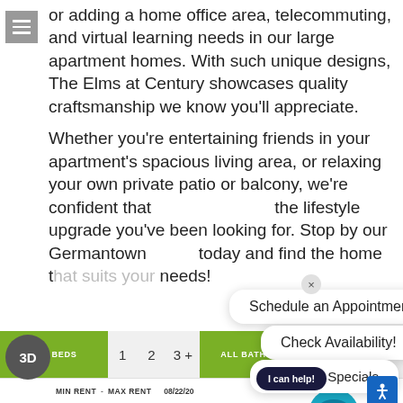[Figure (screenshot): Hamburger menu icon (three horizontal white lines on grey background) in top-left corner]
or adding a home office area, telecommuting, and virtual learning needs in our large apartment homes. With such unique designs, The Elms at Century showcases quality craftsmanship we know you'll appreciate.
Whether you're entertaining friends in your apartment's spacious living area, or relaxing your own private patio or balcony, we're confident that the lifestyle upgrade you've been looking for. Stop by our Germantown today and find the home that suits your needs!
[Figure (screenshot): Popup overlay with three buttons: 'Schedule an Appointment!', 'Check Availability!', 'Pricing & Specials', with an X close button]
[Figure (screenshot): Bottom filter bar with ALL BEDS (green), 1, 2, 3+ bed options, ALL BATHS (green), 1, 2 bath options]
[Figure (screenshot): 3D badge circular icon]
MIN RENT - MAX RENT   08/22/20
[Figure (screenshot): I can help! chat button and accessibility icon]